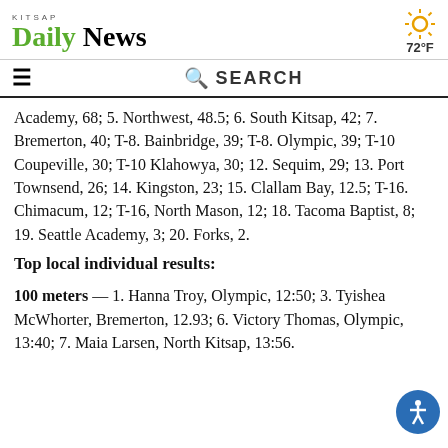KITSAP Daily News — 72°F
Academy, 68; 5. Northwest, 48.5; 6. South Kitsap, 42; 7. Bremerton, 40; T-8. Bainbridge, 39; T-8. Olympic, 39; T-10 Coupeville, 30; T-10 Klahowya, 30; 12. Sequim, 29; 13. Port Townsend, 26; 14. Kingston, 23; 15. Clallam Bay, 12.5; T-16. Chimacum, 12; T-16, North Mason, 12; 18. Tacoma Baptist, 8; 19. Seattle Academy, 3; 20. Forks, 2.
Top local individual results:
100 meters — 1. Hanna Troy, Olympic, 12:50; 3. Tyishea McWhorter, Bremerton, 12.93; 6. Victory Thomas, Olympic, 13:40; 7. Maia Larsen, North Kitsap, 13:56.